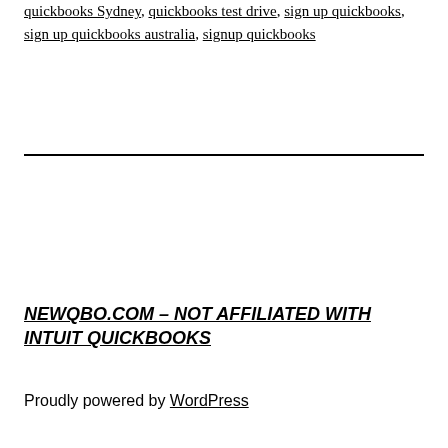quickbooks Sydney, quickbooks test drive, sign up quickbooks, sign up quickbooks australia, signup quickbooks
NEWQBO.COM – NOT AFFILIATED WITH INTUIT QUICKBOOKS
Proudly powered by WordPress